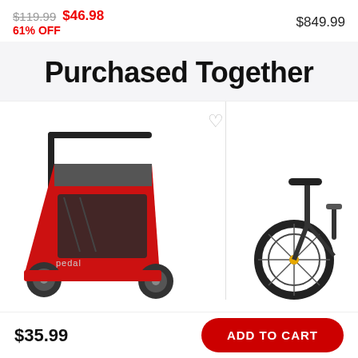$119.99  $46.98  61% OFF
$849.99
Purchased Together
[Figure (photo): Red bike trailer (Pedag brand) and partial bicycle image side by side]
$35.99
ADD TO CART